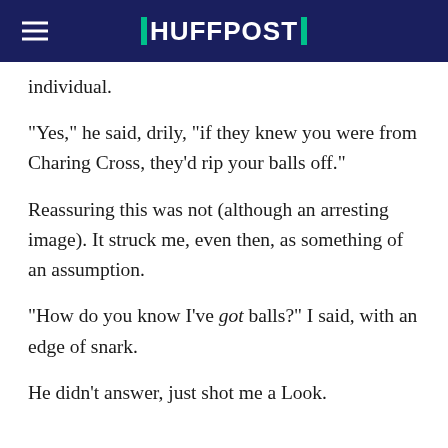HUFFPOST
individual.
"Yes," he said, drily, "if they knew you were from Charing Cross, they'd rip your balls off."
Reassuring this was not (although an arresting image). It struck me, even then, as something of an assumption.
"How do you know I've got balls?" I said, with an edge of snark.
He didn't answer, just shot me a Look.